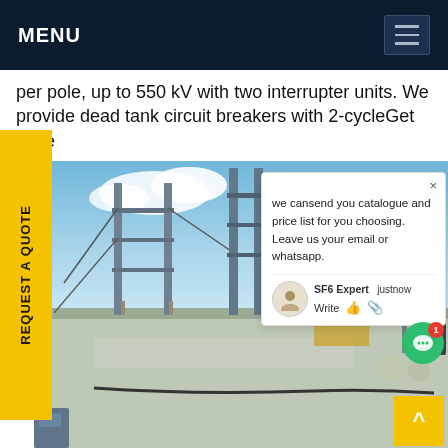MENU
per pole, up to 550 kV with two interrupter units. We provide dead tank circuit breakers with 2-cycleGet price
[Figure (photo): Outdoor electrical substation with large metal frame structures, insulators, and equipment on a gravel yard under blue sky]
we cansend you catalogue and price list for you choosing. Leave us your email or whatsapp.
SF6 Expert   justnow
Write